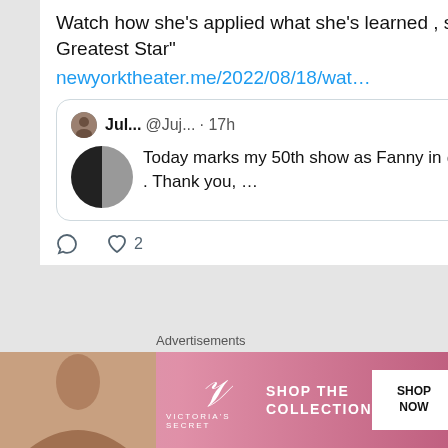Watch how she's applied what she's learned , singing "I'm The Greatest Star"
newyorktheater.me/2022/08/18/wat…
Jul... @Juj... · 17h — Today marks my 50th show as Fanny in @FunnyGirlBwy . Thank you, …
♡ 2
New York...
Advertisements
[Figure (screenshot): Victoria's Secret advertisement banner with model, VS logo, 'SHOP THE COLLECTION' text, and 'SHOP NOW' button]